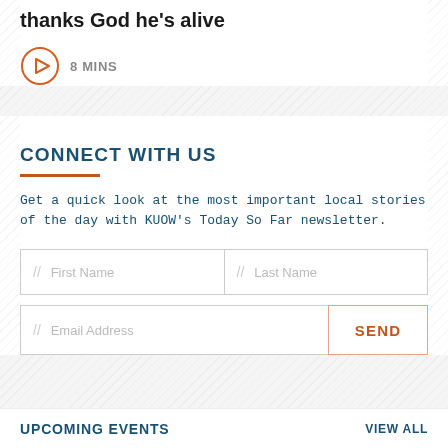thanks God he's alive
8 MINS
CONNECT WITH US
Get a quick look at the most important local stories of the day with KUOW's Today So Far newsletter.
// First Name  // Last Name
// Email Address  SEND
UPCOMING EVENTS  VIEW ALL